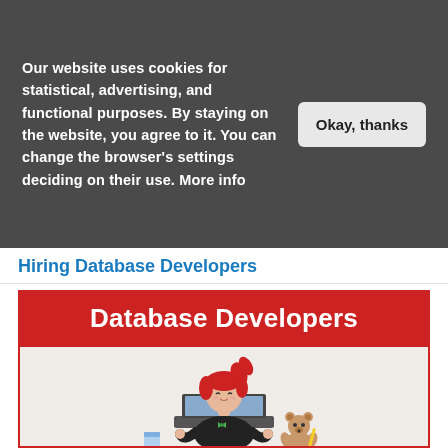Our website uses cookies for statistical, advertising, and functional purposes. By staying on the website, you agree to it. You can change the browser's settings deciding on their use. More info
Okay, thanks
Hiring Database Developers
[Figure (infographic): Infographic titled 'Database Developers' showing an illustrated cartoon character of a red-haired person sitting at a desk working on a laptop, with a small teddy bear to the right.]